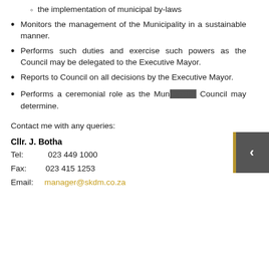the implementation of municipal by-laws
Monitors the management of the Municipality in a sustainable manner.
Performs such duties and exercise such powers as the Council may be delegated to the Executive Mayor.
Reports to Council on all decisions by the Executive Mayor.
Performs a ceremonial role as the Mun... Council may determine.
Contact me with any queries:
Cllr. J. Botha
Tel:    023 449 1000
Fax:  023 415 1253
Email: manager@skdm.co.za